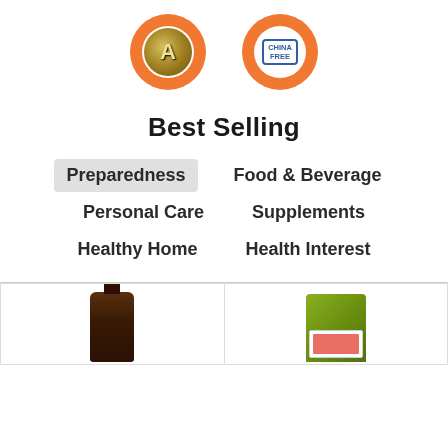[Figure (illustration): Two orange circular badge icons: one with a metallic 'A' seal and one with a 'CHINA FREE' label, on white background]
Best Selling
Preparedness
Food & Beverage
Personal Care
Supplements
Healthy Home
Health Interest
[Figure (photo): Two product images side by side: a dark glass bottle (left) and a green pouch with red label (right)]